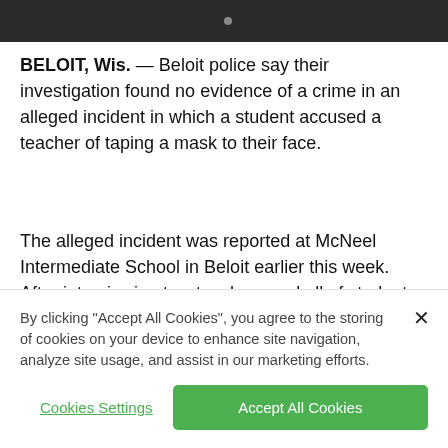[Figure (photo): Dark photo bar at top of page, appears to be a partial image of cables or equipment against a dark background]
BELOIT, Wis. — Beloit police say their investigation found no evidence of a crime in an alleged incident in which a student accused a teacher of taping a mask to their face.
The alleged incident was reported at McNeel Intermediate School in Beloit earlier this week. After interviewing two teachers and all of students who were present at the time, police say they found no evidence of any crime occurring.
By clicking “Accept All Cookies”, you agree to the storing of cookies on your device to enhance site navigation, analyze site usage, and assist in our marketing efforts.
Cookies Settings
Accept All Cookies